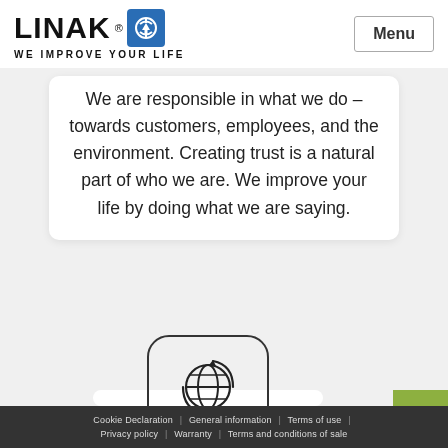LINAK® WE IMPROVE YOUR LIFE | Menu
We are responsible in what we do – towards customers, employees, and the environment. Creating trust is a natural part of who we are. We improve your life by doing what we are saying.
[Figure (logo): LOCAL & GLOBAL globe icon with circular arrows]
[Figure (infographic): Green contact button with envelope and phone icons]
Cookie Declaration | General information | Terms of use | Privacy policy | Warranty | Terms and conditions of sale